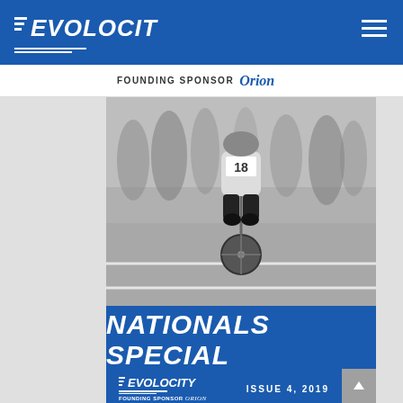EVOLOCITY — FOUNDING SPONSOR Orion
[Figure (photo): Black and white photo of a cyclist (race number 18) from behind, racing on a track with spectators and runners in the background]
NATIONALS SPECIAL
EVOLOCITY — FOUNDING SPONSOR Orion — ISSUE 4, 2019